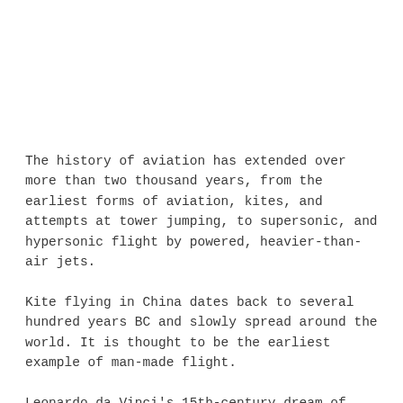The history of aviation has extended over more than two thousand years, from the earliest forms of aviation, kites, and attempts at tower jumping, to supersonic, and hypersonic flight by powered, heavier-than-air jets.
Kite flying in China dates back to several hundred years BC and slowly spread around the world. It is thought to be the earliest example of man-made flight.
Leonardo da Vinci's 15th-century dream of flight found expression in several rational but unscientific designs, though he did not attempt to construct any of them.